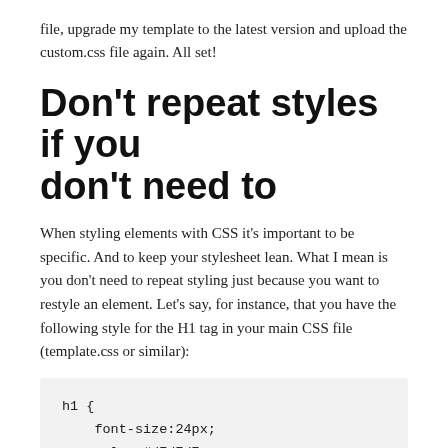file, upgrade my template to the latest version and upload the custom.css file again. All set!
Don't repeat styles if you don't need to
When styling elements with CSS it's important to be specific. And to keep your stylesheet lean. What I mean is you don't need to repeat styling just because you want to restyle an element. Let's say, for instance, that you have the following style for the H1 tag in your main CSS file (template.css or similar):
[Figure (screenshot): Code block showing CSS h1 rule: h1 { font-size:24px; color:#d7d7d7; margin-bottom:1em; text-transform:uppercase; }]
The correct styling for H1 in your main theme would be: